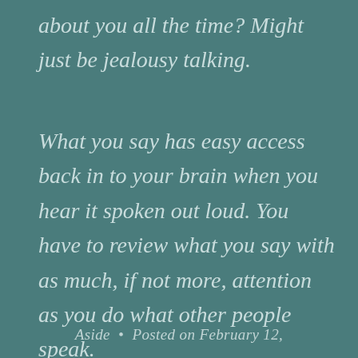about you all the time? Might just be jealousy talking.
What you say has easy access back in to your brain when you hear it spoken out loud. You have to review what you say with as much, if not more, attention as you do what other people speak.
Aside  •  Posted on February 12,